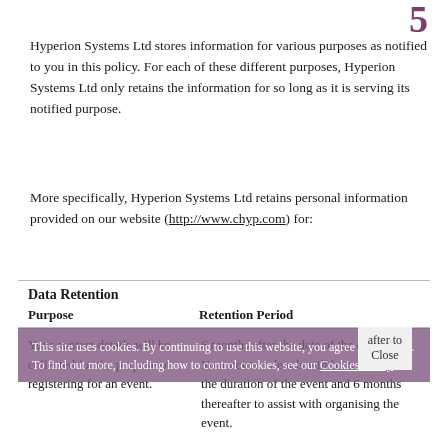5
Hyperion Systems Ltd stores information for various purposes as notified to you in this policy. For each of these different purposes, Hyperion Systems Ltd only retains the information for so long as it is serving its notified purpose.
More specifically, Hyperion Systems Ltd retains personal information provided on our website (http://www.chyp.com) for:
| Data Retention
Purpose | Retention Period |
| --- | --- |
| Your contact details will be collected for the purpose of registering for an event. | 6 months after the date of the event – Your contact details will be retained for the duration of the event and 6 months thereafter to assist with organising the event. |
This site uses cookies. By continuing to use this website, you agree to their use.
To find out more, including how to control cookies, see our Cookies Policy